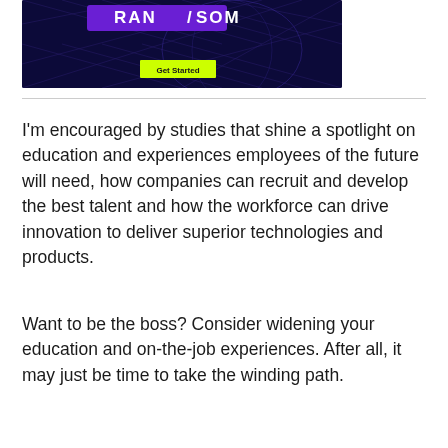[Figure (screenshot): Dark blue/purple banner with 'RANSOM' text in white on purple background and a yellow-green 'Get Started' button]
I'm encouraged by studies that shine a spotlight on education and experiences employees of the future will need, how companies can recruit and develop the best talent and how the workforce can drive innovation to deliver superior technologies and products.
Want to be the boss? Consider widening your education and on-the-job experiences. After all, it may just be time to take the winding path.